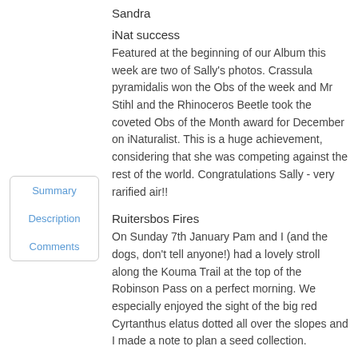Sandra
iNat success
Featured at the beginning of our Album this week are two of Sally's photos. Crassula pyramidalis won the Obs of the week and Mr Stihl and the Rhinoceros Beetle took the coveted Obs of the Month award for December on iNaturalist. This is a huge achievement, considering that she was competing against the rest of the world. Congratulations Sally - very rarified air!!
Ruitersbos Fires
On Sunday 7th January Pam and I (and the dogs, don't tell anyone!) had a lovely stroll along the Kouma Trail at the top of the Robinson Pass on a perfect morning. We especially enjoyed the sight of the big red Cyrtanthus elatus dotted all over the slopes and I made a note to plan a seed collection.
On Tuesday 9th a fire started up in a kloof west of the R328 - we hear that clearing contractors were the cause - and rapidly spread west and into the
Summary
Description
Comments